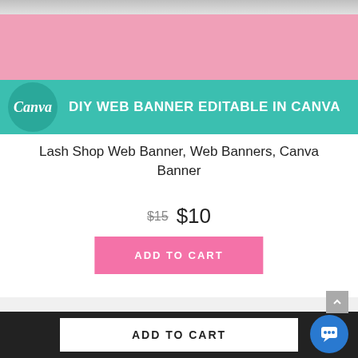[Figure (screenshot): Product image of a Lash Shop Web Banner template showing a pink background with teal banner section containing Canva logo and text 'DIY WEB BANNER EDITABLE IN CANVA', with a ruler at the top.]
Lash Shop Web Banner, Web Banners, Canva Banner
$15 $10
ADD TO CART
ADD TO CART